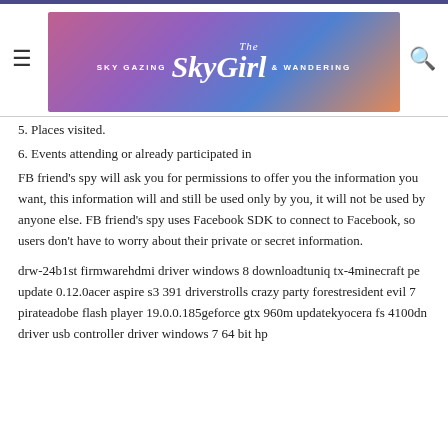The SkyGirl - Sky Gazing & Wandering
5. Places visited.
6. Events attending or already participated in
FB friend's spy will ask you for permissions to offer you the information you want, this information will and still be used only by you, it will not be used by anyone else. FB friend's spy uses Facebook SDK to connect to Facebook, so users don't have to worry about their private or secret information.
drw-24b1st firmwarehdmi driver windows 8 downloadtuniq tx-4minecraft pe update 0.12.0acer aspire s3 391 driverstrolls crazy party forestresident evil 7 pirateadobe flash player 19.0.0.185geforce gtx 960m updatekyocera fs 4100dn driver usb controller driver windows 7 64 bit hp